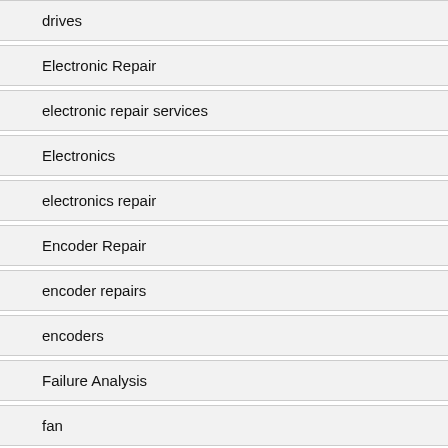drives
Electronic Repair
electronic repair services
Electronics
electronics repair
Encoder Repair
encoder repairs
encoders
Failure Analysis
fan
Fuji drive